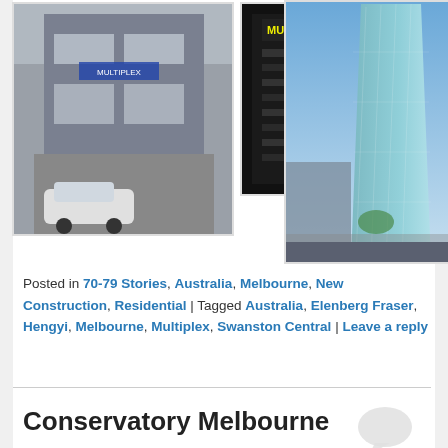[Figure (photo): Street-level photo of a building facade with a car parked in front, appears to be a commercial/mixed-use building]
[Figure (photo): Dark digital screen/display board showing Multiplex branding and information]
[Figure (photo): Architectural rendering of a tall glass skyscraper tower (Swanston Central) against a blue sky]
Posted in 70-79 Stories, Australia, Melbourne, New Construction, Residential | Tagged Australia, Elenberg Fraser, Hengyi, Melbourne, Multiplex, Swanston Central | Leave a reply
Conservatory Melbourne